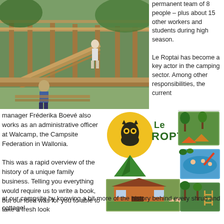[Figure (photo): Black and white photo of a man standing on wooden scaffolding/deck structure with a child watching below, surrounded by trees]
permanent team of 8 people – plus about 15 other workers and students during high season.

Le Roptai has become a key actor in the camping sector. Among other responsibilities, the current
manager Fréderika Boevé also works as an administrative officer at Walcamp, the Campsite Federation in Wallonia.

This was a rapid overview of the history of a unique family business. Telling you everything would require us to write a book, but our idea was for you to able to take a fresh look at our campsite by knowing a bit more of the history behind every shrub and cottage!
[Figure (illustration): Le Roptai logo with an owl on a yellow circle and a green tent, plus three photos showing camping facilities including bungalows, a swimming pool, and playground equipment]